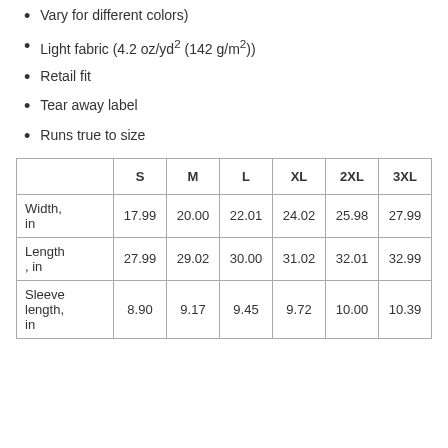Vary for different colors)
Light fabric (4.2 oz/yd² (142 g/m²))
Retail fit
Tear away label
Runs true to size
|  | S | M | L | XL | 2XL | 3XL |
| --- | --- | --- | --- | --- | --- | --- |
| Width, in | 17.99 | 20.00 | 22.01 | 24.02 | 25.98 | 27.99 |
| Length, in | 27.99 | 29.02 | 30.00 | 31.02 | 32.01 | 32.99 |
| Sleeve length, in | 8.90 | 9.17 | 9.45 | 9.72 | 10.00 | 10.39 |